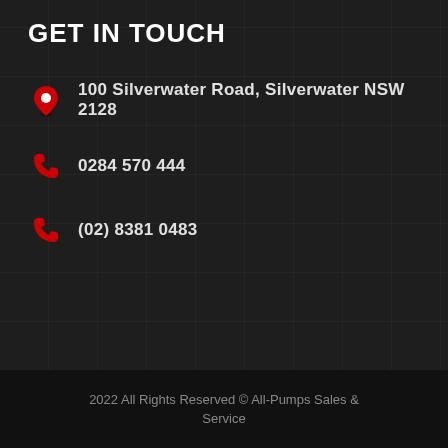GET IN TOUCH
100 Silverwater Road, Silverwater NSW 2128
0284 570 444
(02) 8381 0483
2022 All Rights Reserved © All-Pumps Sales & Service